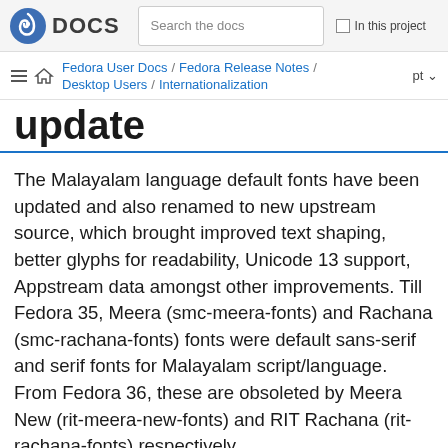Fedora DOCS | Search the docs | In this project
Fedora User Docs / Fedora Release Notes / Desktop Users / Internationalization | pt
update
The Malayalam language default fonts have been updated and also renamed to new upstream source, which brought improved text shaping, better glyphs for readability, Unicode 13 support, Appstream data amongst other improvements. Till Fedora 35, Meera (smc-meera-fonts) and Rachana (smc-rachana-fonts) fonts were default sans-serif and serif fonts for Malayalam script/language. From Fedora 36, these are obsoleted by Meera New (rit-meera-new-fonts) and RIT Rachana (rit-rachana-fonts) respectively.